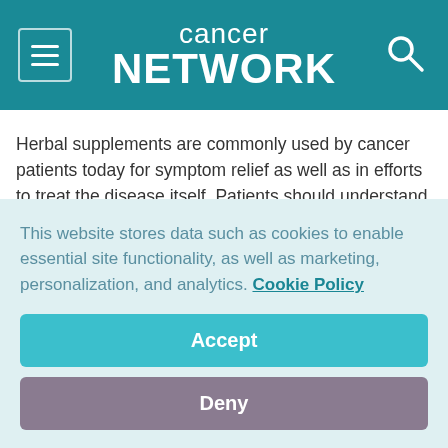cancer network
Herbal supplements are commonly used by cancer patients today for symptom relief as well as in efforts to treat the disease itself. Patients should understand that herbal supplements are not viable
This website stores data such as cookies to enable essential site functionality, as well as marketing, personalization, and analytics. Cookie Policy
Accept
Deny